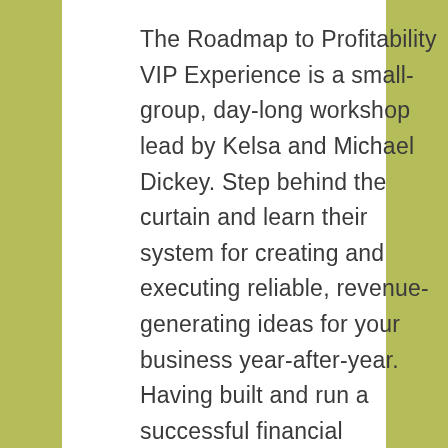The Roadmap to Profitability VIP Experience is a small-group, day-long workshop lead by Kelsa and Michael Dickey. Step behind the curtain and learn their system for creating and executing reliable, revenue-generating ideas for your business year-after-year. Having built and run a successful financial coaching business over the past decade, they will lead eight financial coaches for this